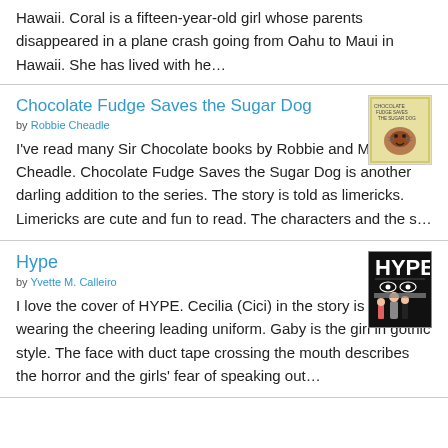Hawaii. Coral is a fifteen-year-old girl whose parents disappeared in a plane crash going from Oahu to Maui in Hawaii. She has lived with he…
Chocolate Fudge Saves the Sugar Dog
by Robbie Cheadle
[Figure (illustration): Book cover thumbnail for Chocolate Fudge Saves the Sugar Dog]
I've read many Sir Chocolate books by Robbie and Michael Cheadle. Chocolate Fudge Saves the Sugar Dog is another darling addition to the series. The story is told as limericks. Limericks are cute and fun to read. The characters and the s…
Hype
by Yvette M. Calleiro
[Figure (illustration): Book cover thumbnail for Hype showing the word HYPE in large letters and illustrated characters]
I love the cover of HYPE. Cecilia (Cici) in the story is the girl wearing the cheering leading uniform. Gaby is the girl in gothic style. The face with duct tape crossing the mouth describes the horror and the girls' fear of speaking out…